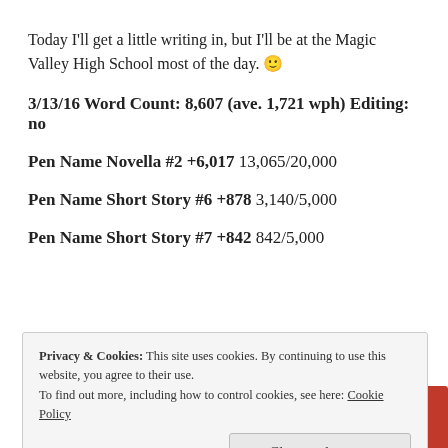Today I'll get a little writing in, but I'll be at the Magic Valley High School most of the day. 🙂
3/13/16 Word Count: 8,607 (ave. 1,721 wph) Editing: no
Pen Name Novella #2 +6,017 13,065/20,000
Pen Name Short Story #6 +878 3,140/5,000
Pen Name Short Story #7 +842 842/5,000
[Figure (photo): Red smartphone or device on a red background]
Privacy & Cookies: This site uses cookies. By continuing to use this website, you agree to their use.
To find out more, including how to control cookies, see here: Cookie Policy
Close and accept